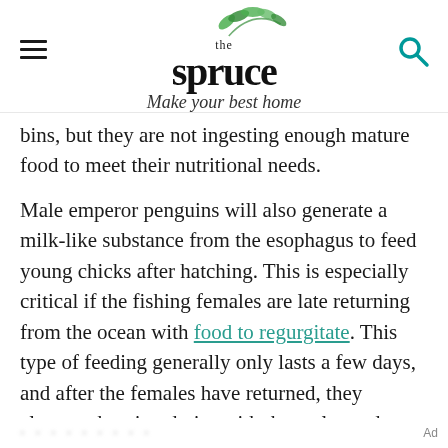the spruce — Make your best home
bins, but they are not ingesting enough mature food to meet their nutritional needs.
Male emperor penguins will also generate a milk-like substance from the esophagus to feed young chicks after hatching. This is especially critical if the fishing females are late returning from the ocean with food to regurgitate. This type of feeding generally only lasts a few days, and after the females have returned, they alternate hunting duties with the males and are able to feed chicks regurgitated fish instead of
Ad